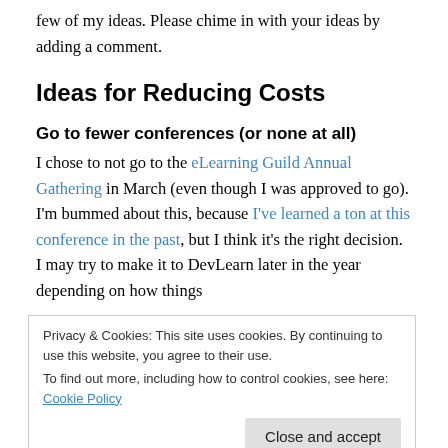few of my ideas. Please chime in with your ideas by adding a comment.
Ideas for Reducing Costs
Go to fewer conferences (or none at all)
I chose to not go to the eLearning Guild Annual Gathering in March (even though I was approved to go). I'm bummed about this, because I've learned a ton at this conference in the past, but I think it's the right decision. I may try to make it to DevLearn later in the year depending on how things
Privacy & Cookies: This site uses cookies. By continuing to use this website, you agree to their use.
To find out more, including how to control cookies, see here: Cookie Policy
MediaWiki, and Scuttle. There are tons of great tools out